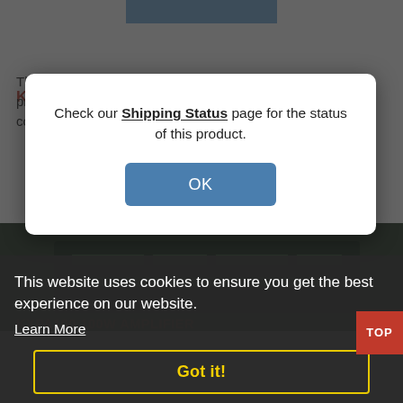[Figure (screenshot): Top portion of a product page showing a blue product image strip at the very top]
KRC2 BAND DECODER
The Elecraft KRC2 Band Decoder is a universal, programmable station control unit that can switch any combination of...
[Figure (screenshot): Modal dialog box with white background containing message about Shipping Status page and an OK button]
Check our Shipping Status page for the status of this product.
This website uses cookies to ensure you get the best experience on our website.
Learn More
Got it!
KXPA100 100W AMPLIFIER
Our high-performance KXPA100 home/mobile amplifier seamlessly integrates with the KX3 and KX2...